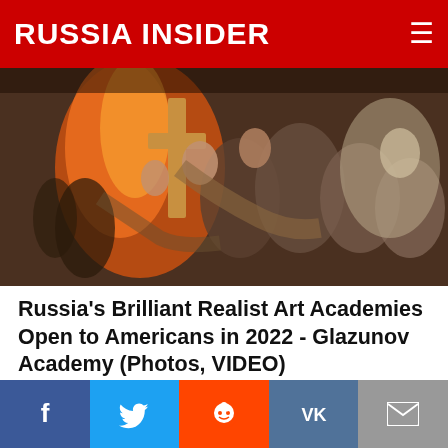RUSSIA INSIDER
[Figure (photo): Painting of a religious procession with people carrying a large cross amid flames and crowds]
Russia's Brilliant Realist Art Academies Open to Americans in 2022 - Glazunov Academy (Photos, VIDEO)
Charles Bausman  (Russian Faith)  3,832  Comments
[Figure (photo): Building with colorful mural on its facade on left; gloved hands holding a syringe on right]
Facebook  Twitter  Reddit  VK  Email